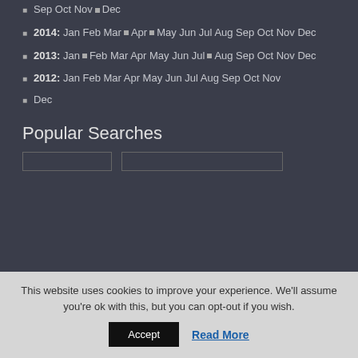Sep Oct Nov ▪ Dec
2014: Jan Feb Mar ▪ Apr ▪ May Jun Jul Aug Sep Oct Nov Dec
2013: Jan ▪ Feb Mar Apr May Jun Jul ▪ Aug Sep Oct Nov Dec
2012: Jan Feb Mar Apr May Jun Jul Aug Sep Oct Nov
Dec
Popular Searches
This website uses cookies to improve your experience. We'll assume you're ok with this, but you can opt-out if you wish.